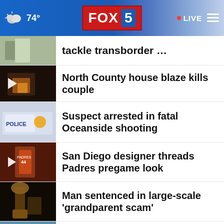74° FOX 5 • LIVE
tackle transborder …
North County house blaze kills couple
Suspect arrested in fatal Oceanside shooting
San Diego designer threads Padres pregame look
Man sentenced in large-scale 'grandparent scam'
San Diegans cash in on their pools
Jerome's Furniture — QUALITY, SELECTION, & JERRY'S PRICE
How much residents could pay under